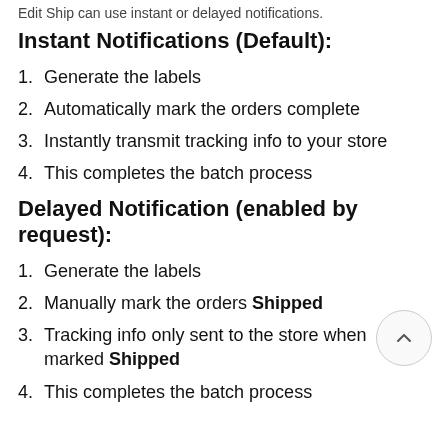Edit Ship can use instant or delayed notifications.
Instant Notifications (Default):
1. Generate the labels
2. Automatically mark the orders complete
3. Instantly transmit tracking info to your store
4. This completes the batch process
Delayed Notification (enabled by request):
1. Generate the labels
2. Manually mark the orders Shipped
3. Tracking info only sent to the store when marked Shipped
4. This completes the batch process